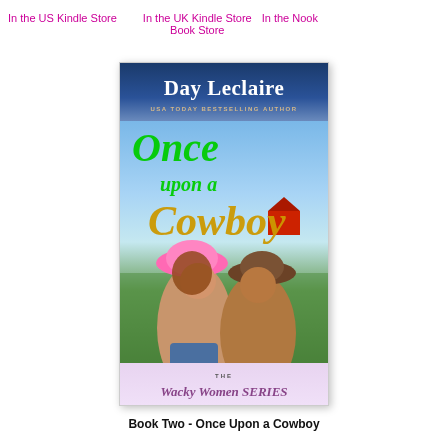In the US Kindle Store    In the UK Kindle Store    In the Nook Book Store
[Figure (illustration): Book cover for 'Once Upon a Cowboy' by Day Leclaire, USA Today Bestselling Author. Part of The Wacky Women Series. Cover shows two people in cowboy hats in a romantic pose against a farm background.]
Book Two - Once Upon a Cowboy